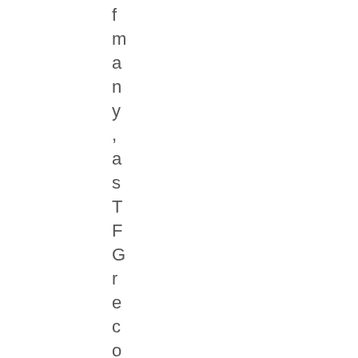f m a n y , a s T F G r e c o g